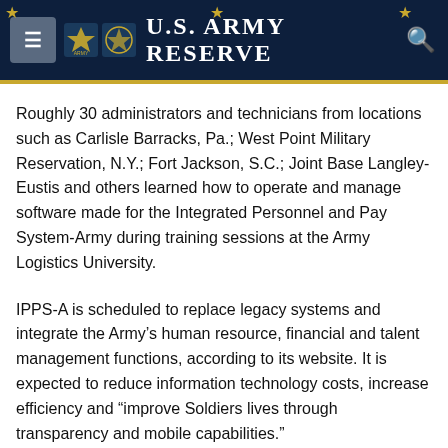U.S. Army Reserve
Roughly 30 administrators and technicians from locations such as Carlisle Barracks, Pa.; West Point Military Reservation, N.Y.; Fort Jackson, S.C.; Joint Base Langley-Eustis and others learned how to operate and manage software made for the Integrated Personnel and Pay System-Army during training sessions at the Army Logistics University.
IPPS-A is scheduled to replace legacy systems and integrate the Army’s human resource, financial and talent management functions, according to its website. It is expected to reduce information technology costs, increase efficiency and “improve Soldiers lives through transparency and mobile capabilities.”
The personnel and pay system has already been implemented by the National Guard. The active duty and Army Reserve components will begin using it in